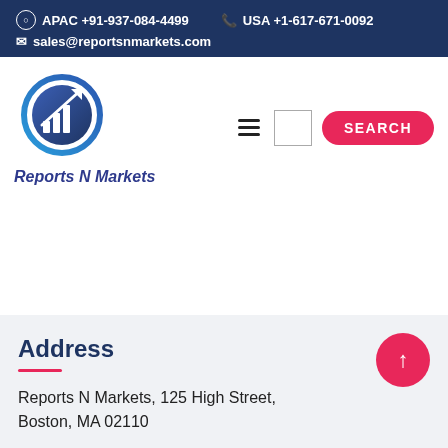APAC +91-937-084-4499   USA +1-617-671-0092   sales@reportsnmarkets.com
[Figure (logo): Reports N Markets logo: circular arrow with bar chart inside, blue and navy gradient circle with arrow pointing up-right. Text below reads 'Reports N Markets' in bold italic blue.]
Address
Reports N Markets, 125 High Street, Boston, MA 02110